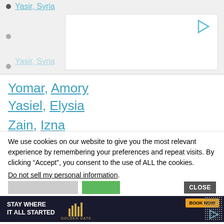Yasir, Syria
(partially visible)
(clipped link)
Yomar, Amory
Yasiel, Elysia
Zain, Izna
Zaine, Aizen
Zane, Enza
Zayn, Nyza
Zayne, Ayzen (clipped)
We use cookies on our website to give you the most relevant experience by remembering your preferences and repeat visits. By clicking “Accept”, you consent to the use of ALL the cookies.
Do not sell my personal information.
[Figure (infographic): Advertisement banner: STAY WHERE IT ALL STARTED - Golden Gate hotel ad with Book Now button]
CLOSE